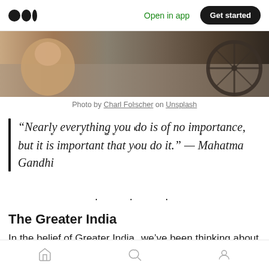Open in app  Get started
[Figure (photo): Street scene photo showing a person crouching on the left and a bicycle wheel on the right, on a dusty road surface]
Photo by Charl Folscher on Unsplash
“Nearly everything you do is of no importance, but it is important that you do it.” — Mahatma Gandhi
· · ·
The Greater India
In the belief of Greater India, we’ve been thinking about the very first tool to add to our toolbox.
Home  Search  Profile